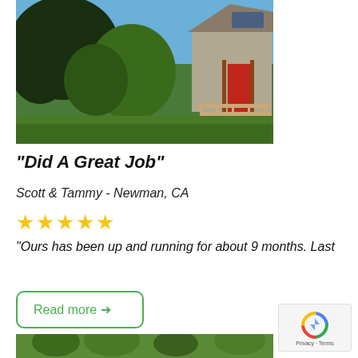[Figure (photo): Exterior photo of a residential house with trees, red door, and wooden railing, under blue sky]
“Did A Great Job”
Scott & Tammy - Newman, CA
★★★★★
“Ours has been up and running for about 9 months. Last
Read more →
[Figure (photo): Aerial or overhead view of neighborhood with trees and houses]
[Figure (other): Google reCAPTCHA badge with Privacy and Terms links]